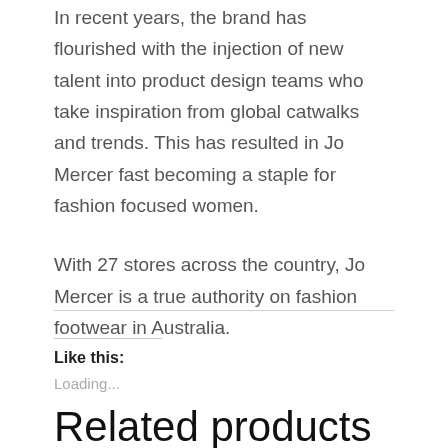In recent years, the brand has flourished with the injection of new talent into product design teams who take inspiration from global catwalks and trends. This has resulted in Jo Mercer fast becoming a staple for fashion focused women.
With 27 stores across the country, Jo Mercer is a true authority on fashion footwear in Australia.
Like this:
Loading...
Related products